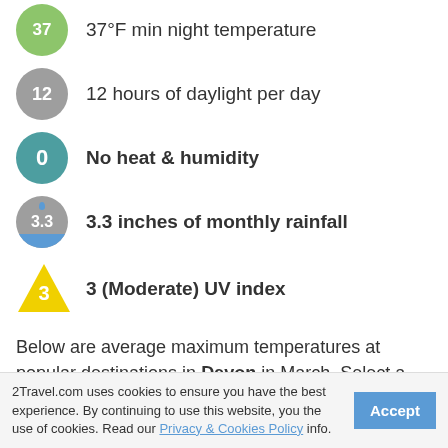37 — 37°F min night temperature
12 — 12 hours of daylight per day
0 — No heat & humidity
3.3 — 3.3 inches of monthly rainfall
3 — 3 (Moderate) UV index
Below are average maximum temperatures at popular destinations in Devon in March. Select a destination to see more weather parameters.
10 — Exeter
10
2Travel.com uses cookies to ensure you have the best experience. By continuing to use this website, you the use of cookies. Read our Privacy & Cookies Policy info.